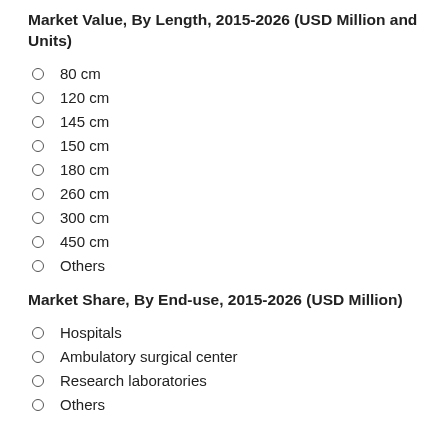Market Value, By Length, 2015-2026 (USD Million and Units)
80 cm
120 cm
145 cm
150 cm
180 cm
260 cm
300 cm
450 cm
Others
Market Share, By End-use, 2015-2026 (USD Million)
Hospitals
Ambulatory surgical center
Research laboratories
Others